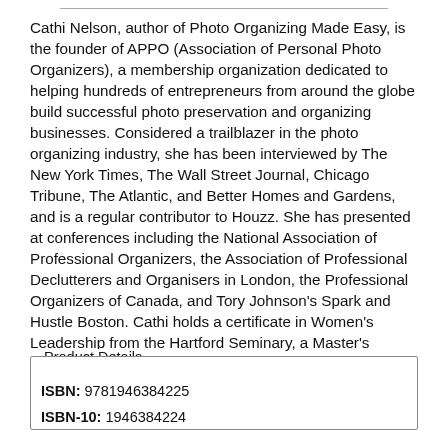Cathi Nelson, author of Photo Organizing Made Easy, is the founder of APPO (Association of Personal Photo Organizers), a membership organization dedicated to helping hundreds of entrepreneurs from around the globe build successful photo preservation and organizing businesses. Considered a trailblazer in the photo organizing industry, she has been interviewed by The New York Times, The Wall Street Journal, Chicago Tribune, The Atlantic, and Better Homes and Gardens, and is a regular contributor to Houzz. She has presented at conferences including the National Association of Professional Organizers, the Association of Professional Declutterers and Organisers in London, the Professional Organizers of Canada, and Tory Johnson's Spark and Hustle Boston. Cathi holds a certificate in Women's Leadership from the Hartford Seminary, a Master's Degree in Liberal Studies from Wesleyan University, and a Bachelor's Degree in Communications from the University of Connecticut.
Product Details
ISBN: 9781946384225
ISBN-10: 1946384224